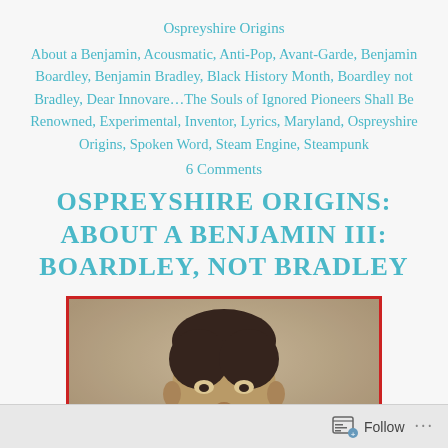Ospreyshire Origins
About a Benjamin, Acousmatic, Anti-Pop, Avant-Garde, Benjamin Boardley, Benjamin Bradley, Black History Month, Boardley not Bradley, Dear Innovare...The Souls of Ignored Pioneers Shall Be Renowned, Experimental, Inventor, Lyrics, Maryland, Ospreyshire Origins, Spoken Word, Steam Engine, Steampunk
6 Comments
OSPREYSHIRE ORIGINS: ABOUT A BENJAMIN III: BOARDLEY, NOT BRADLEY
[Figure (photo): A sepia-toned historical portrait photograph of a person, shown from approximately shoulder/bust level up, with dark hair, within a red-bordered frame. The image is cropped at the bottom.]